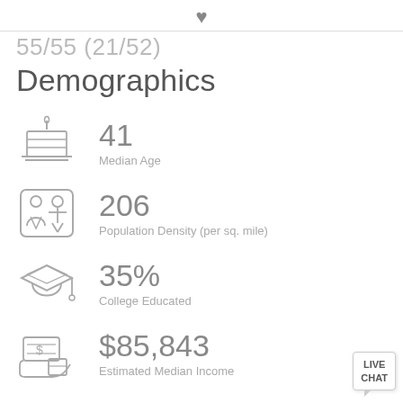55/55 (21/52)
Demographics
41
Median Age
206
Population Density (per sq. mile)
35%
College Educated
$85,843
Estimated Median Income